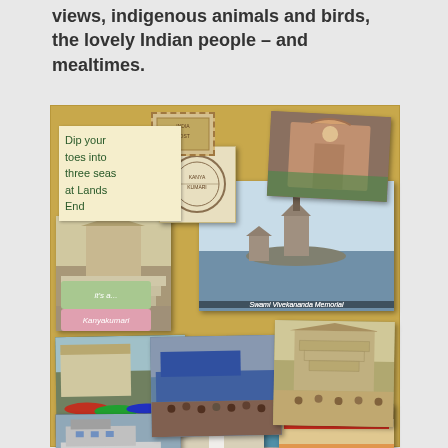views, indigenous animals and birds, the lovely Indian people – and mealtimes.
[Figure (photo): A travel collage/scrapbook page on a tan/gold corkboard background featuring multiple photographs of Indian landmarks and scenes including the Swami Vivekananda Memorial at Kanyakumari, temples, ferries, boats, and crowds. A handwritten card reads 'Dip your toes into three seas at Lands End'. Various photos are arranged overlapping each other with postcard stamps and decorative tags.]